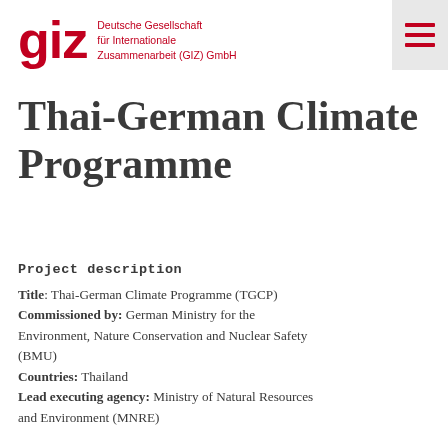giz Deutsche Gesellschaft für Internationale Zusammenarbeit (GIZ) GmbH
Thai-German Climate Programme
Project description
Title: Thai-German Climate Programme (TGCP)
Commissioned by: German Ministry for the Environment, Nature Conservation and Nuclear Safety (BMU)
Countries: Thailand
Lead executing agency: Ministry of Natural Resources and Environment (MNRE)